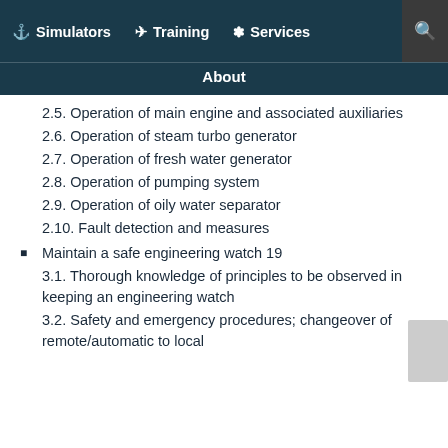Simulators  Training  Services  About
2.5. Operation of main engine and associated auxiliaries
2.6. Operation of steam turbo generator
2.7. Operation of fresh water generator
2.8. Operation of pumping system
2.9. Operation of oily water separator
2.10. Fault detection and measures
Maintain a safe engineering watch 19
3.1. Thorough knowledge of principles to be observed in keeping an engineering watch
3.2. Safety and emergency procedures; changeover of remote/automatic to local